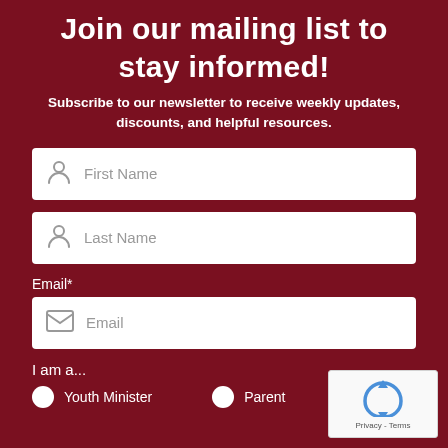Join our mailing list to stay informed!
Subscribe to our newsletter to receive weekly updates, discounts, and helpful resources.
First Name
Last Name
Email*
Email
I am a...
Youth Minister
Parent